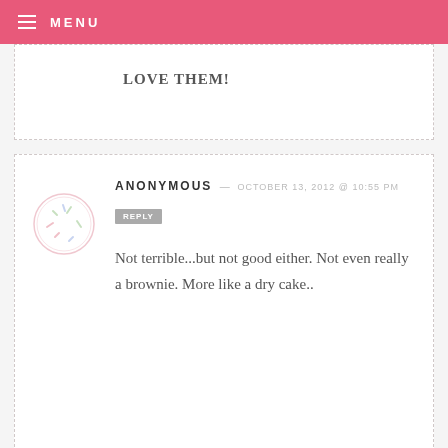MENU
LOVE THEM!
ANONYMOUS — OCTOBER 13, 2012 @ 10:55 PM
REPLY
Not terrible...but not good either. Not even really a brownie. More like a dry cake..
AMANDA — OCTOBER 4, 2012 @ 3:46 PM
REPLY